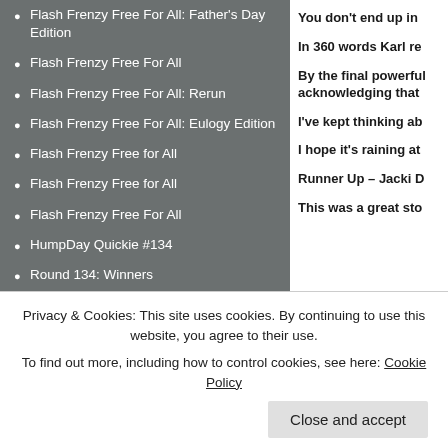Flash Frenzy Free For All: Father's Day Edition
Flash Frenzy Free For All
Flash Frenzy Free For All: Rerun
Flash Frenzy Free For All: Eulogy Edition
Flash Frenzy Free for All
Flash Frenzy Free for All
Flash Frenzy Free For All
HumpDay Quickie #134
Round 134: Winners
CATEGORIES
Bonus Post (6)
Flash Face-Off (6)
Flash Frenzy Free For All (7)
You don't end up in
In 360 words Karl re
By the final powerful acknowledging that
I've kept thinking ab
I hope it's raining at
Runner Up – Jacki D
This was a great sto
When those last 3 w
Privacy & Cookies: This site uses cookies. By continuing to use this website, you agree to their use. To find out more, including how to control cookies, see here: Cookie Policy